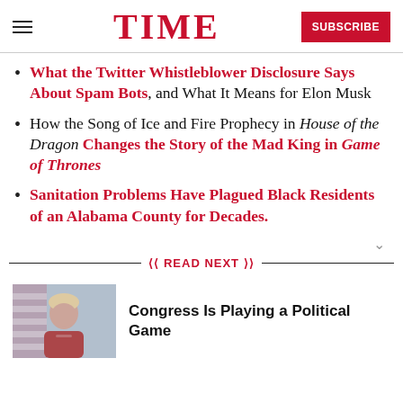TIME | SUBSCRIBE
What the Twitter Whistleblower Disclosure Says About Spam Bots, and What It Means for Elon Musk
How the Song of Ice and Fire Prophecy in House of the Dragon Changes the Story of the Mad King in Game of Thrones
Sanitation Problems Have Plagued Black Residents of an Alabama County for Decades.
READ NEXT
[Figure (photo): Headshot of a woman speaking, with US flag in background]
Congress Is Playing a Political Game